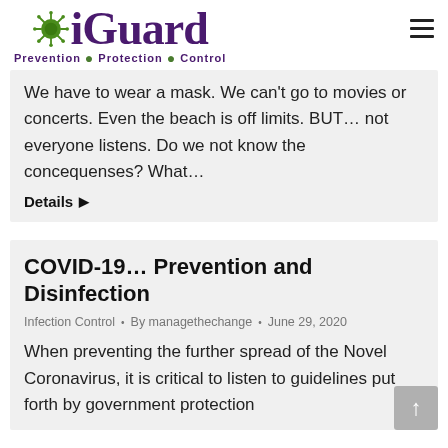iGuard — Prevention • Protection • Control
We have to wear a mask. We can't go to movies or concerts. Even the beach is off limits. BUT… not everyone listens. Do we not know the concequenses? What…
Details ▶
COVID-19… Prevention and Disinfection
Infection Control • By managethechange • June 29, 2020
When preventing the further spread of the Novel Coronavirus, it is critical to listen to guidelines put forth by government protection